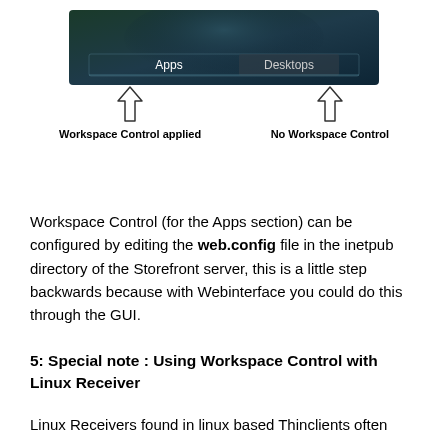[Figure (screenshot): Screenshot of a UI showing two tabs: 'Apps' (left) and 'Desktops' (right), on a dark green/teal gradient background. Below are two upward-pointing arrows: left arrow labeled 'Workspace Control applied', right arrow labeled 'No Workspace Control'.]
Workspace Control (for the Apps section) can be configured by editing the web.config file in the inetpub directory of the Storefront server, this is a little step backwards because with Webinterface you could do this through the GUI.
5: Special note : Using Workspace Control with Linux Receiver
Linux Receivers found in linux based Thinclients often